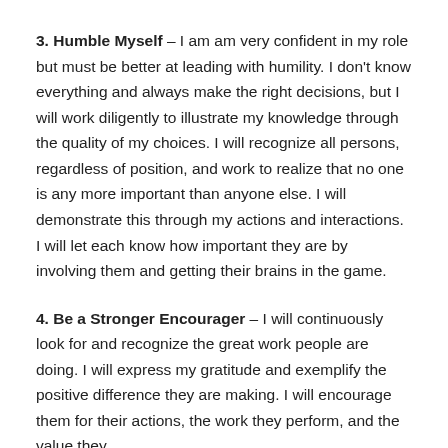3. Humble Myself – I am am very confident in my role but must be better at leading with humility. I don't know everything and always make the right decisions, but I will work diligently to illustrate my knowledge through the quality of my choices. I will recognize all persons, regardless of position, and work to realize that no one is any more important than anyone else. I will demonstrate this through my actions and interactions. I will let each know how important they are by involving them and getting their brains in the game.
4. Be a Stronger Encourager – I will continuously look for and recognize the great work people are doing. I will express my gratitude and exemplify the positive difference they are making. I will encourage them for their actions, the work they perform, and the value they